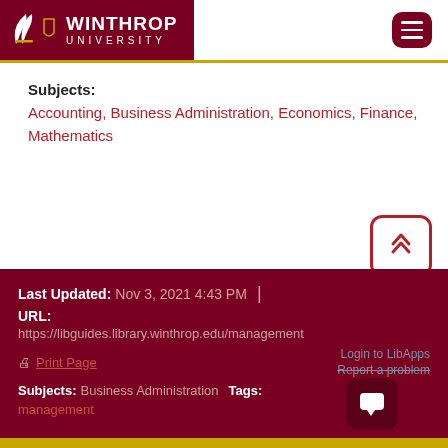[Figure (logo): Winthrop University logo with white wing icon and text on dark red background, with hamburger menu button]
Subjects: Accounting, Business Administration, Economics, Finance, Mathematics
[Figure (other): Scroll-to-top button with double chevron up arrow, red outlined rounded square]
Last Updated: Nov 3, 2021 4:43 PM | URL: https://libguides.library.winthrop.edu/management Print Page | Login to LibApps | Report a problem | Subjects: Business Administration management | Tags: